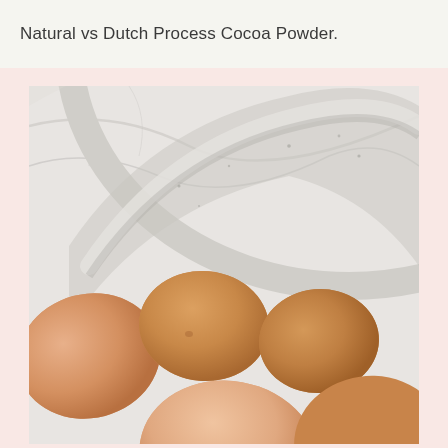Natural vs Dutch Process Cocoa Powder.
[Figure (photo): Close-up photo of brown eggs in a white ceramic speckled bowl, shot from above on a marble surface background.]